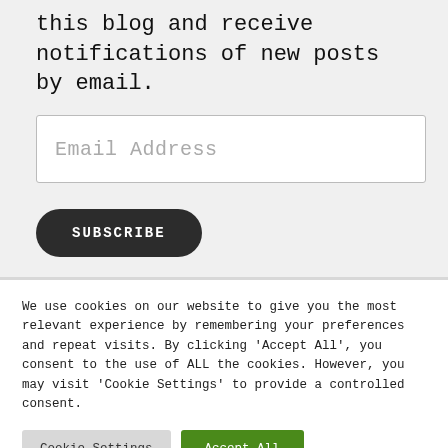this blog and receive notifications of new posts by email.
Email Address
SUBSCRIBE
We use cookies on our website to give you the most relevant experience by remembering your preferences and repeat visits. By clicking 'Accept All', you consent to the use of ALL the cookies. However, you may visit 'Cookie Settings' to provide a controlled consent.
Cookie Settings
Accept All